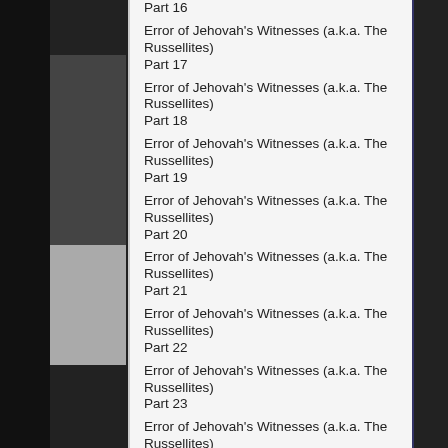Part 16
Error of Jehovah's Witnesses (a.k.a. The Russellites)
Part 17
Error of Jehovah's Witnesses (a.k.a. The Russellites)
Part 18
Error of Jehovah's Witnesses (a.k.a. The Russellites)
Part 19
Error of Jehovah's Witnesses (a.k.a. The Russellites)
Part 20
Error of Jehovah's Witnesses (a.k.a. The Russellites)
Part 21
Error of Jehovah's Witnesses (a.k.a. The Russellites)
Part 22
Error of Jehovah's Witnesses (a.k.a. The Russellites)
Part 23
Error of Jehovah's Witnesses (a.k.a. The Russellites)
Part 24
Error of Jehovah's Witnesses (a.k.a. The Russellites)
Part 25
Error of Jehovah's Witnesses (a.k.a. The Russellites)
Part 26
Error of Jehovah's Witnesses (a.k.a. The Russellites)
Part 27